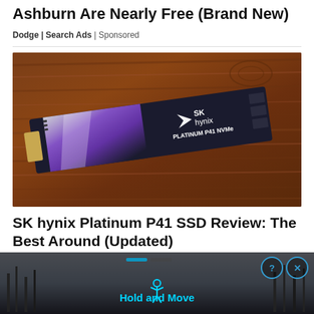These 2016 Dodge Ram Trucks In Ashburn Are Nearly Free (Brand New)
Dodge | Search Ads | Sponsored
[Figure (photo): Photo of an SK hynix Platinum P41 NVMe SSD lying on a wooden surface. The SSD has a dark body with a purple and white gradient design, showing the SK hynix logo and PLATINUM P41 NVMe text.]
SK hynix Platinum P41 SSD Review: The Best Around (Updated)
[Figure (screenshot): Advertisement banner at the bottom showing a dark background with trees silhouette, a person figure icon in cyan, and the text 'Hold and Move'. Controls showing question mark and X buttons in the top right.]